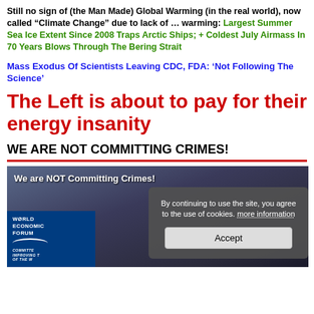Still no sign of (the Man Made) Global Warming (in the real world), now called “Climate Change” due to lack of … warming: Largest Summer Sea Ice Extent Since 2008 Traps Arctic Ships; + Coldest July Airmass In 70 Years Blows Through The Bering Strait
Mass Exodus Of Scientists Leaving CDC, FDA: ‘Not Following The Science’
The Left is about to pay for their energy insanity
WE ARE NOT COMMITTING CRIMES!
[Figure (screenshot): Video thumbnail showing a crowd scene with World Economic Forum branding and a cookie consent popup overlay reading: By continuing to use the site, you agree to the use of cookies. more information [Accept button]. Text overlay on video: We are NOT Committing Crimes!]